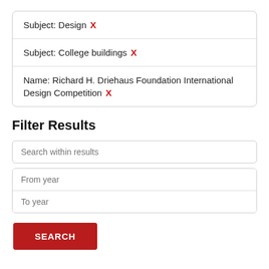Subject: Design X
Subject: College buildings X
Name: Richard H. Driehaus Foundation International Design Competition X
Filter Results
Search within results
From year
To year
SEARCH